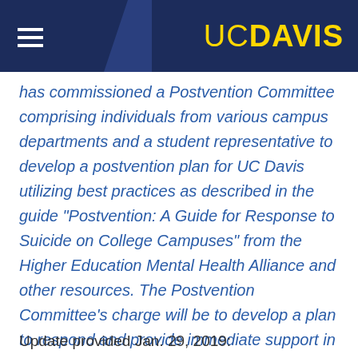UC DAVIS
has commissioned a Postvention Committee comprising individuals from various campus departments and a student representative to develop a postvention plan for UC Davis utilizing best practices as described in the guide “Postvention: A Guide for Response to Suicide on College Campuses” from the Higher Education Mental Health Alliance and other resources. The Postvention Committee’s charge will be to develop a plan to respond and provide immediate support in the event of a student death by summer 2019.
Update provided Jan. 29, 2019: